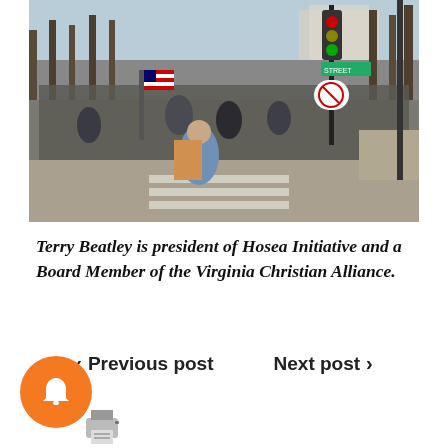[Figure (photo): Large crowd of protesters marching on a wide street in Washington D.C. with bare trees, traffic lights, signs, and an American flag visible. Buildings visible in background.]
Terry Beatley is president of Hosea Initiative and a Board Member of the Virginia Christian Alliance.
< Previous post   Next post >